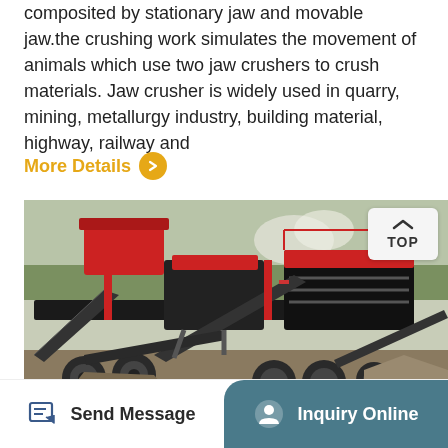composited by stationary jaw and movable jaw.the crushing work simulates the movement of animals which use two jaw crushers to crush materials. Jaw crusher is widely used in quarry, mining, metallurgy industry, building material, highway, railway and
More Details >
[Figure (photo): Photograph of a large mobile jaw crusher and screening plant equipment on a job site, with red and black machinery, conveyor belts, and a dusty outdoor environment.]
Send Message
Inquiry Online